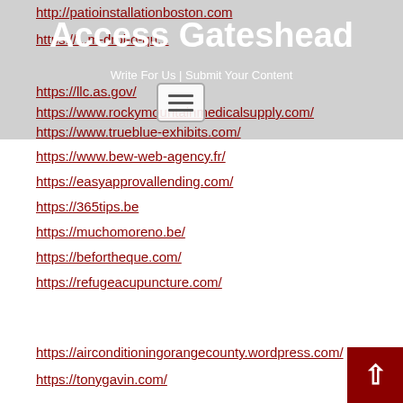Access Gateshead
Write For Us | Submit Your Content
http://patioinstallationboston.com
https://...m-drol-o-qu...
https://llc.as.gov/
https://www.rockymountainmedicalsupply.com/
https://www.trueblue-exhibits.com/
https://www.bew-web-agency.fr/
https://easyapprovallending.com/
https://365tips.be
https://muchomoreno.be/
https://befortheque.com/
https://refugeacupuncture.com/
https://airconditioningorangecounty.wordpress.com/
https://tonygavin.com/